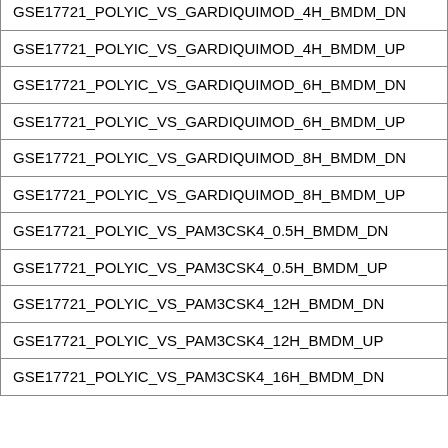| GSE17721_POLYIC_VS_GARDIQUIMOD_4H_BMDM_DN |
| GSE17721_POLYIC_VS_GARDIQUIMOD_4H_BMDM_UP |
| GSE17721_POLYIC_VS_GARDIQUIMOD_6H_BMDM_DN |
| GSE17721_POLYIC_VS_GARDIQUIMOD_6H_BMDM_UP |
| GSE17721_POLYIC_VS_GARDIQUIMOD_8H_BMDM_DN |
| GSE17721_POLYIC_VS_GARDIQUIMOD_8H_BMDM_UP |
| GSE17721_POLYIC_VS_PAM3CSK4_0.5H_BMDM_DN |
| GSE17721_POLYIC_VS_PAM3CSK4_0.5H_BMDM_UP |
| GSE17721_POLYIC_VS_PAM3CSK4_12H_BMDM_DN |
| GSE17721_POLYIC_VS_PAM3CSK4_12H_BMDM_UP |
| GSE17721_POLYIC_VS_PAM3CSK4_16H_BMDM_DN |